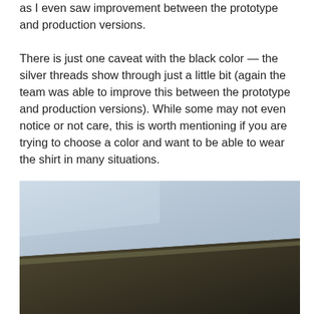as I even saw improvement between the prototype and production versions.
There is just one caveat with the black color — the silver threads show through just a little bit (again the team was able to improve this between the prototype and production versions). While some may not even notice or not care, this is worth mentioning if you are trying to choose a color and want to be able to wear the shirt in many situations.
[Figure (photo): Close-up photograph of two fabric swatches showing contrast between a light blue-grey fabric on top and a dark brown-black fabric on bottom, with a diagonal fold line between them.]